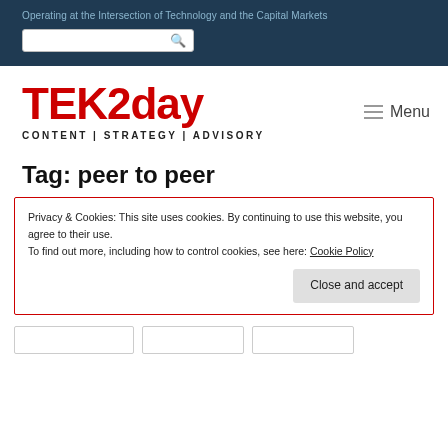Operating at the Intersection of Technology and the Capital Markets
[Figure (logo): TEK2day logo with red bold text and tagline CONTENT | STRATEGY | ADVISORY]
Tag: peer to peer
Privacy & Cookies: This site uses cookies. By continuing to use this website, you agree to their use. To find out more, including how to control cookies, see here: Cookie Policy
Close and accept